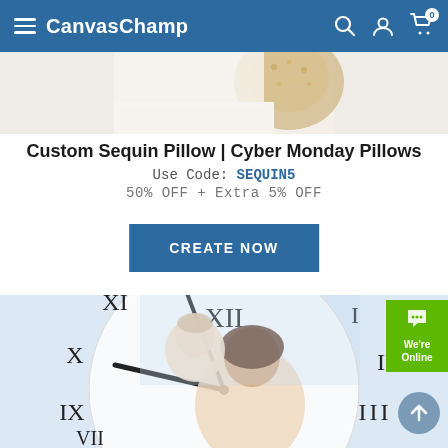CanvasChamp
[Figure (photo): Cropped top portion of a sequin pillow product photo on white background]
Custom Sequin Pillow | Cyber Monday Pillows
Use Code: SEQUIN5
50% OFF + Extra 5% OFF
CREATE NOW
[Figure (photo): Custom photo clock showing a mother and baby on a circular clock face with Roman numerals, light blue background]